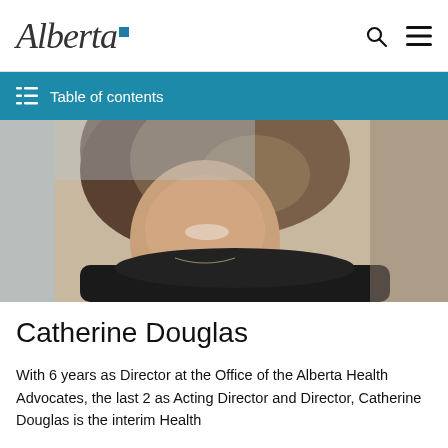Alberta [government logo]
Table of contents
[Figure (photo): Close-up photograph of Catherine Douglas, a woman with medium-length brown/blonde hair, smiling, wearing a dark top and a delicate necklace]
Catherine Douglas
With 6 years as Director at the Office of the Alberta Health Advocates, the last 2 as Acting Director and Director, Catherine Douglas is the interim Health